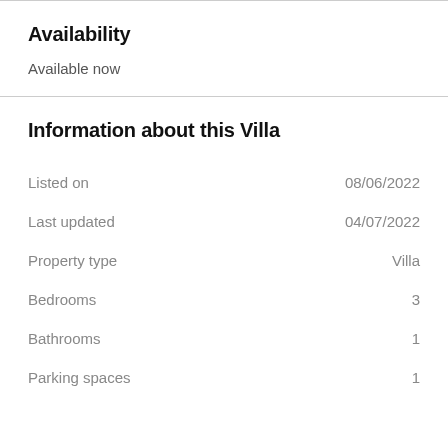Availability
Available now
Information about this Villa
|  |  |
| --- | --- |
| Listed on | 08/06/2022 |
| Last updated | 04/07/2022 |
| Property type | Villa |
| Bedrooms | 3 |
| Bathrooms | 1 |
| Parking spaces | 1 |